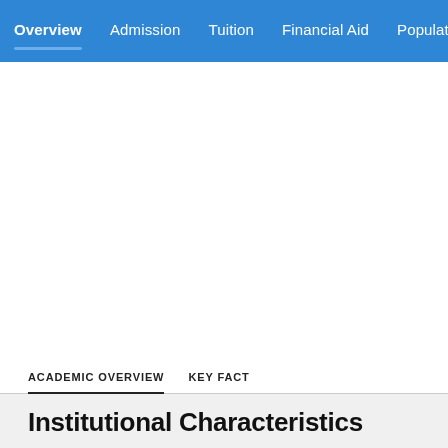Overview  Admission  Tuition  Financial Aid  Population
ACADEMIC OVERVIEW  KEY FACT
Institutional Characteristics